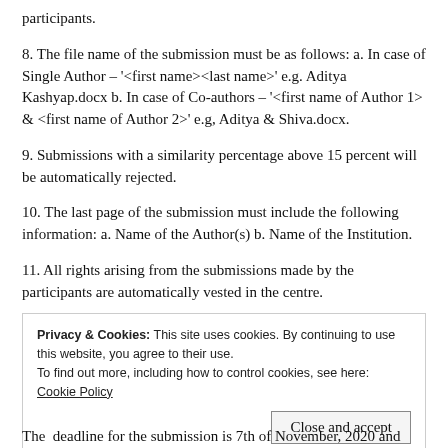participants.
8. The file name of the submission must be as follows: a. In case of Single Author – '<first name><last name>' e.g. Aditya Kashyap.docx b. In case of Co-authors – '<first name of Author 1> & <first name of Author 2>' e.g, Aditya & Shiva.docx.
9. Submissions with a similarity percentage above 15 percent will be automatically rejected.
10. The last page of the submission must include the following information: a. Name of the Author(s) b. Name of the Institution.
11. All rights arising from the submissions made by the participants are automatically vested in the centre.
Privacy & Cookies: This site uses cookies. By continuing to use this website, you agree to their use.
To find out more, including how to control cookies, see here: Cookie Policy
Close and accept
The  deadline for the submission is 7th of November, 2020 and